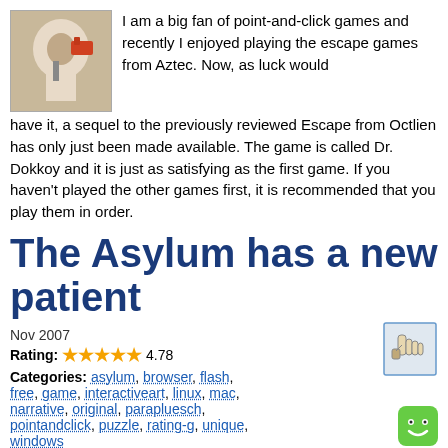I am a big fan of point-and-click games and recently I enjoyed playing the escape games from Aztec. Now, as luck would have it, a sequel to the previously reviewed Escape from Octlien has only just been made available. The game is called Dr. Dokkoy and it is just as satisfying as the first game. If you haven't played the other games first, it is recommended that you play them in order.
The Asylum has a new patient
Nov 2007
Rating: 4.78
Categories: asylum, browser, flash, free, game, interactiveart, linux, mac, narrative, original, parapluesch, pointandclick, puzzle, rating-g, unique, windows
The Asylum: Psychiatric Clinic for Abused Cuddly Toys finally has another cute little patient to treat: Dub the Turtle. Just like